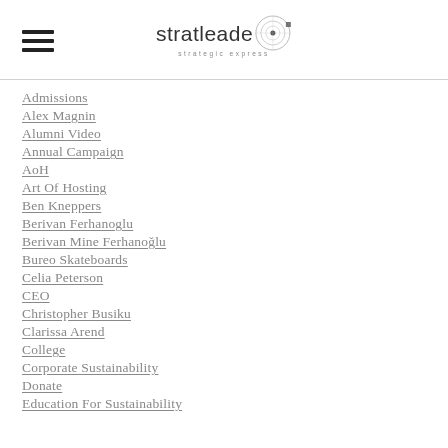stratleade (logo with hamburger menu)
Admissions
Alex Magnin
Alumni Video
Annual Campaign
AoH
Art Of Hosting
Ben Kneppers
Berivan Ferhanoglu
Berivan Mine Ferhanoğlu
Bureo Skateboards
Celia Peterson
CEO
Christopher Busiku
Clarissa Arend
College
Corporate Sustainability
Donate
Education For Sustainability